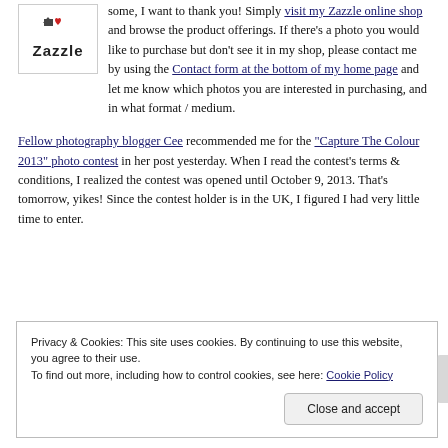[Figure (logo): Zazzle logo with arrow icon above bold Zazzle text, inside a bordered box]
some, I want to thank you! Simply visit my Zazzle online shop and browse the product offerings. If there's a photo you would like to purchase but don't see it in my shop, please contact me by using the Contact form at the bottom of my home page and let me know which photos you are interested in purchasing, and in what format / medium.
Fellow photography blogger Cee recommended me for the "Capture The Colour 2013" photo contest in her post yesterday. When I read the contest's terms & conditions, I realized the contest was opened until October 9, 2013. That's tomorrow, yikes! Since the contest holder is in the UK, I figured I had very little time to enter.
Privacy & Cookies: This site uses cookies. By continuing to use this website, you agree to their use.
To find out more, including how to control cookies, see here: Cookie Policy